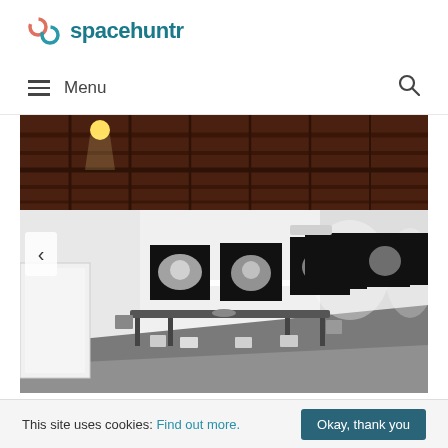spacehuntr
Menu
[Figure (photo): Interior of an art gallery with exposed wooden beam ceiling, white walls hung with large black-and-white photographic prints of flowers, and a central dark dining table with chairs on a gray floor. A bright spotlight and track lighting illuminate the artworks. A white door is visible on the left wall.]
This site uses cookies: Find out more. Okay, thank you